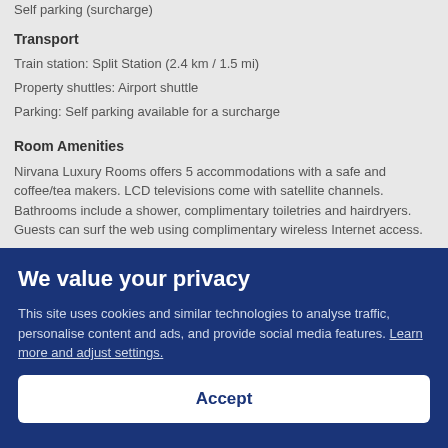Self parking (surcharge)
Transport
Train station: Split Station (2.4 km / 1.5 mi)
Property shuttles: Airport shuttle
Parking: Self parking available for a surcharge
Room Amenities
Nirvana Luxury Rooms offers 5 accommodations with a safe and coffee/tea makers. LCD televisions come with satellite channels. Bathrooms include a shower, complimentary toiletries and hairdryers. Guests can surf the web using complimentary wireless Internet access.
We value your privacy
This site uses cookies and similar technologies to analyse traffic, personalise content and ads, and provide social media features. Learn more and adjust settings.
Accept